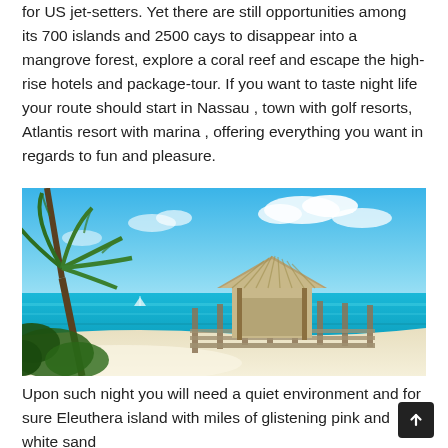for US jet-setters. Yet there are still opportunities among its 700 islands and 2500 cays to disappear into a mangrove forest, explore a coral reef and escape the high-rise hotels and package-tour. If you want to taste night life your route should start in Nassau , town with golf resorts, Atlantis resort with marina , offering everything you want in regards to fun and pleasure.
[Figure (photo): Tropical beach scene with turquoise water, white sand beach, palm trees in foreground, and a thatched-roof hut on a wooden pier/dock extending into the sea. Blue sky with white clouds.]
Upon such night you will need a quiet environment and for sure Eleuthera island with miles of glistening pink and white sand